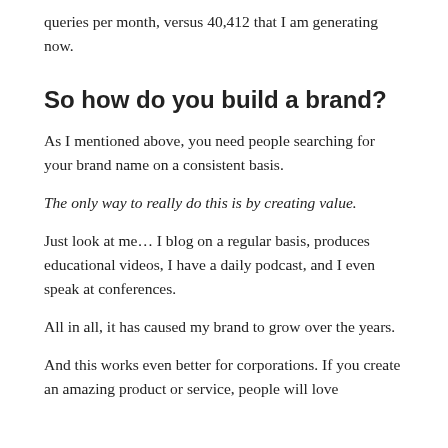queries per month, versus 40,412 that I am generating now.
So how do you build a brand?
As I mentioned above, you need people searching for your brand name on a consistent basis.
The only way to really do this is by creating value.
Just look at me… I blog on a regular basis, produces educational videos, I have a daily podcast, and I even speak at conferences.
All in all, it has caused my brand to grow over the years.
And this works even better for corporations. If you create an amazing product or service, people will love